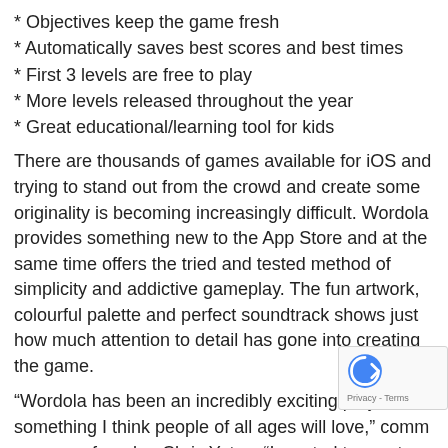* Objectives keep the game fresh
* Automatically saves best scores and best times
* First 3 levels are free to play
* More levels released throughout the year
* Great educational/learning tool for kids
There are thousands of games available for iOS and trying to stand out from the crowd and create some originality is becoming increasingly difficult. Wordola provides something new to the App Store and at the same time offers the tried and tested method of simplicity and addictive gameplay. The fun artwork, colourful palette and perfect soundtrack shows just how much attention to detail has gone into creating the game.
“Wordola has been an incredibly exciting project and something I think people of all ages will love,” comm company founder, Chris Yates. “I wanted to create a that was truly simple to play and had broad appeal. You